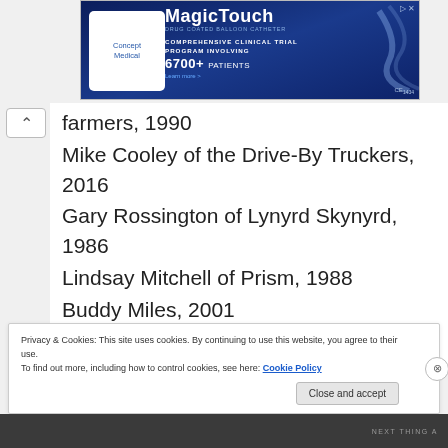[Figure (screenshot): Advertisement banner for Concept Medical MagicTouch product, showing Concept Medical logo, MagicTouch branding, and text 'Comprehensive Clinical Trial Program Involving 6700+ Patients', CE1434 mark]
farmers, 1990
Mike Cooley of the Drive-By Truckers, 2016
Gary Rossington of Lynyrd Skynyrd, 1986
Lindsay Mitchell of Prism, 1988
Buddy Miles, 2001
Eddie Money, 1988
Privacy & Cookies: This site uses cookies. By continuing to use this website, you agree to their use.
To find out more, including how to control cookies, see here: Cookie Policy
Close and accept